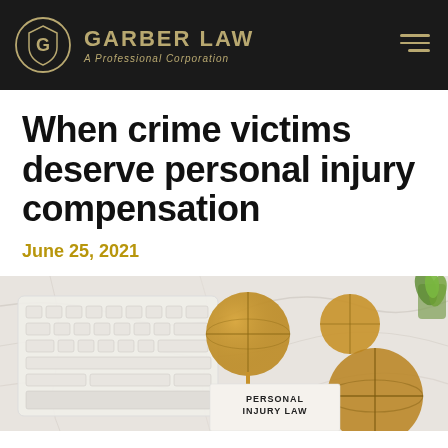GARBER LAW — A Professional Corporation
When crime victims deserve personal injury compensation
June 25, 2021
[Figure (photo): A marble surface with a white keyboard, golden scales of justice, and a document labeled 'PERSONAL INJURY LAW', with a small green plant in the top right corner.]